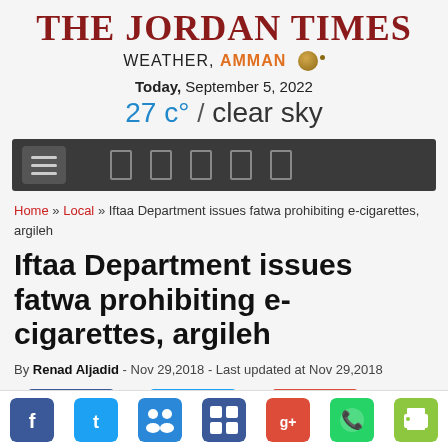THE JORDAN TIMES
WEATHER, AMMAN — Today, September 5, 2022 — 27 c° / clear sky
[Figure (screenshot): Navigation bar with hamburger menu and social/share icons on dark background]
Home » Local » Iftaa Department issues fatwa prohibiting e-cigarettes, argileh
Iftaa Department issues fatwa prohibiting e-cigarettes, argileh
By Renad Aljadid - Nov 29,2018 - Last updated at Nov 29,2018
[Figure (screenshot): Social share buttons row: Facebook Share, Twitter Tweet, Google+ and count badges; bottom bar with Facebook, Twitter, share, Delicious, Google+, WhatsApp, and print icons]